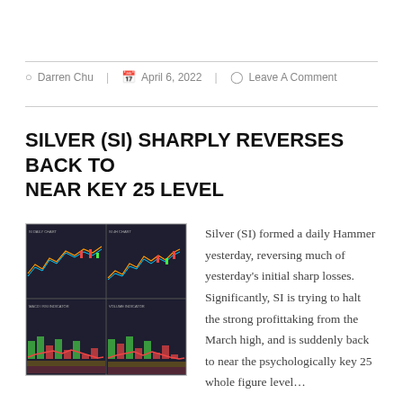Darren Chu | April 6, 2022 | Leave A Comment
SILVER (SI) SHARPLY REVERSES BACK TO NEAR KEY 25 LEVEL
[Figure (screenshot): Technical analysis chart of Silver (SI) showing price action with multiple timeframes and indicators]
Silver (SI) formed a daily Hammer yesterday, reversing much of yesterday's initial sharp losses. Significantly, SI is trying to halt the strong profittaking from the March high, and is suddenly back to near the psychologically key 25 whole figure level…